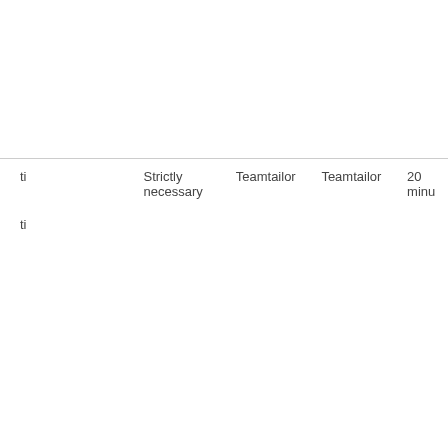| ti | Strictly necessary | Teamtailor | Teamtailor | 20 minu |
| --- | --- | --- | --- | --- |
| ti |  |  |  |  |